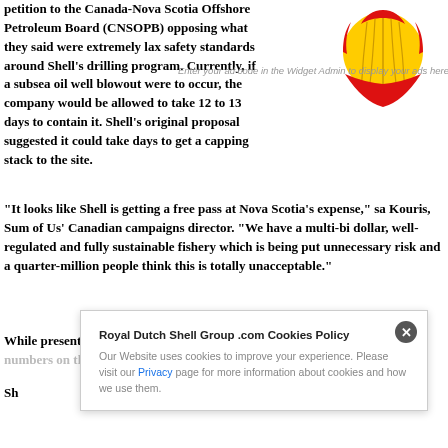petition to the Canada-Nova Scotia Offshore Petroleum Board (CNSOPB) opposing what they said were extremely lax safety standards around Shell's drilling program. Currently, if a subsea oil well blowout were to occur, the company would be allowed to take 12 to 13 days to contain it. Shell's original proposal suggested it could take days to get a capping stack to the site.
[Figure (logo): Shell logo — red and yellow shell emblem on white background]
“It looks like Shell is getting a free pass at Nova Scotia’s expense,” sa Kouris, Sum of Us’ Canadian campaigns director. “We have a multi-bi dollar, well-regulated and fully sustainable fishery which is being put unnecessary risk and a quarter-million people think this is totally unacceptable.”
While presenting the CNSOPB with the petition, protesters wielded si large numbers on them representing the length of time Sh allowed sp on the n.
Sh outh No phase of the program is expected to 0 or 1 mo. For the work Shell has the St mobile
Royal Dutch Shell Group .com Cookies Policy
Our Website uses cookies to improve your experience. Please visit our Privacy page for more information about cookies and how we use them.